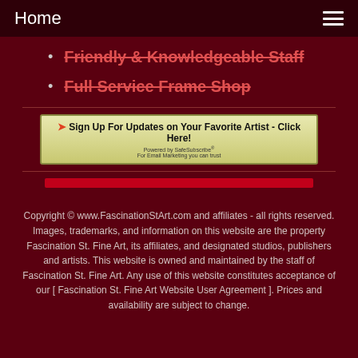Home
Friendly & Knowledgeable Staff
Full Service Frame Shop
[Figure (infographic): Sign Up For Updates on Your Favorite Artist - Click Here! banner with SafeSubscribe branding]
[Figure (other): Red horizontal progress/divider bar]
Copyright © www.FascinationStArt.com and affiliates - all rights reserved. Images, trademarks, and information on this website are the property Fascination St. Fine Art, its affiliates, and designated studios, publishers and artists. This website is owned and maintained by the staff of Fascination St. Fine Art. Any use of this website constitutes acceptance of our [ Fascination St. Fine Art Website User Agreement ]. Prices and availability are subject to change.